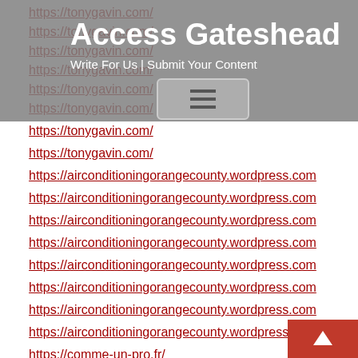Access Gateshead
Write For Us | Submit Your Content
https://tonygavin.com/
https://tonygavin.com/
https://tonygavin.com/
https://tonygavin.com/
https://tonygavin.com/
https://tonygavin.com/
https://tonygavin.com/
https://tonygavin.com/
https://airconditioningorangecounty.wordpress.com
https://airconditioningorangecounty.wordpress.com
https://airconditioningorangecounty.wordpress.com
https://airconditioningorangecounty.wordpress.com
https://airconditioningorangecounty.wordpress.com
https://airconditioningorangecounty.wordpress.com
https://airconditioningorangecounty.wordpress.com
https://airconditioningorangecounty.wordpress.com
https://comme-un-pro.fr/
https://comme-un-pro.fr/